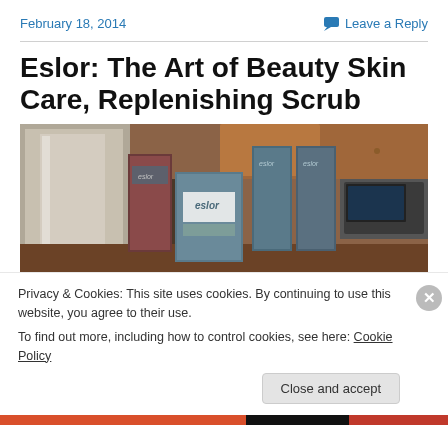February 18, 2014    Leave a Reply
Eslor: The Art of Beauty Skin Care, Replenishing Scrub
[Figure (photo): Multiple Eslor brand skin care product boxes displayed on a kitchen counter, with a stainless steel refrigerator and wooden cabinets in the background.]
Privacy & Cookies: This site uses cookies. By continuing to use this website, you agree to their use.
To find out more, including how to control cookies, see here: Cookie Policy